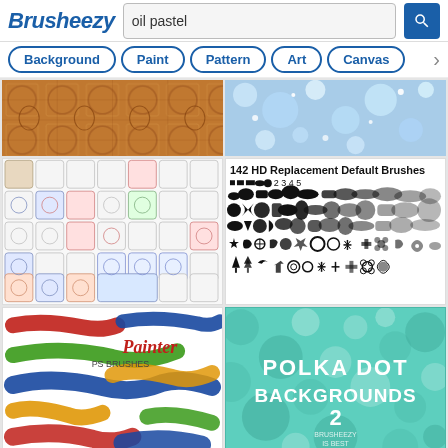Brusheezy — oil pastel search results
[Figure (screenshot): Brusheezy website screenshot showing search results for 'oil pastel'. Header with logo and search bar, filter buttons (Background, Paint, Pattern, Art, Canvas), and a grid of brush/texture thumbnails including copper textures, blue sparkle textures, stamp brushes grid, 142 HD Replacement Default Brushes, Painter PS Brushes with colorful paint strokes, and Polka Dot Backgrounds 2.]